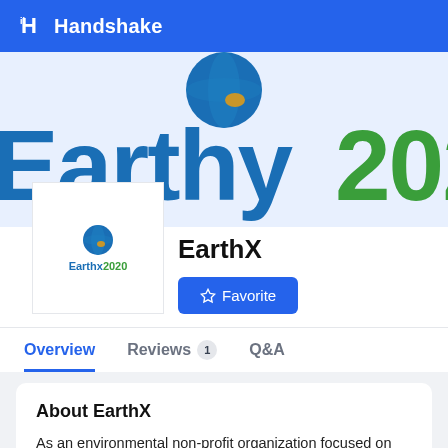Handshake
[Figure (logo): EarthX 2020 company logo with globe icon and text 'Earthx2020' in blue and green]
EarthX
[Figure (illustration): Blue Favorite button with star icon]
Overview  Reviews 1  Q&A
About EarthX
As an environmental non-profit organization focused on environmental education and awareness. EARTHx has created the world's largest annual forum for sharing the